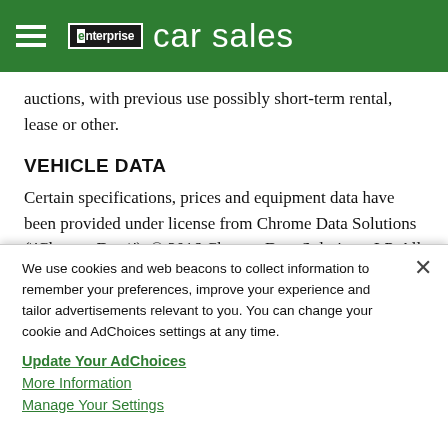enterprise car sales
auctions, with previous use possibly short-term rental, lease or other.
VEHICLE DATA
Certain specifications, prices and equipment data have been provided under license from Chrome Data Solutions (\'Chrome Data\'). © 2016 Chrome Data Solutions, LP. All Rights Reserved. This information is supplied for personal
We use cookies and web beacons to collect information to remember your preferences, improve your experience and tailor advertisements relevant to you. You can change your cookie and AdChoices settings at any time.
Update Your AdChoices
More Information
Manage Your Settings